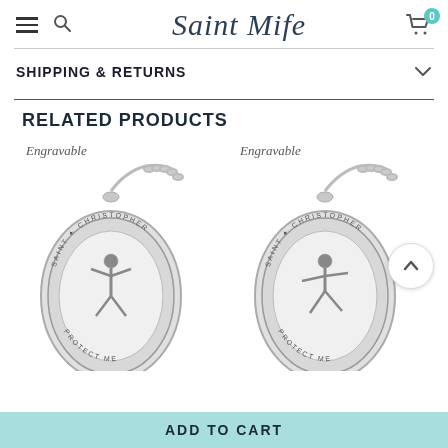Saint Mife
SHIPPING & RETURNS
RELATED PRODUCTS
[Figure (photo): Two Saint Christopher medal necklaces shown side by side, both labeled Engravable. Silver oval medals with chain, reading SAINT CHRISTOPHER and PROTECT ME around a figure.]
ADD TO CART